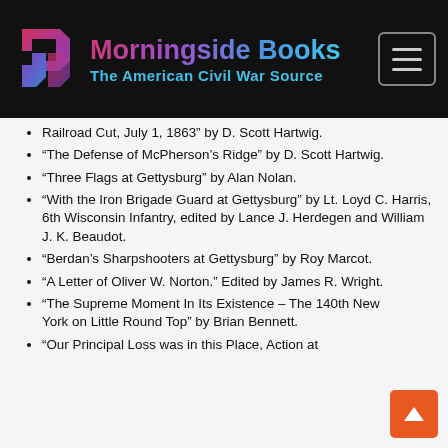[Figure (logo): Morningside Books logo with arrow icon and text 'Morningside Books / The American Civil War Source' on dark background, with hamburger menu button top right]
Railroad Cut, July 1, 1863” by D. Scott Hartwig.
“The Defense of McPherson’s Ridge” by D. Scott Hartwig.
“Three Flags at Gettysburg” by Alan Nolan.
“With the Iron Brigade Guard at Gettysburg” by Lt. Loyd C. Harris, 6th Wisconsin Infantry, edited by Lance J. Herdegen and William J. K. Beaudot.
“Berdan’s Sharpshooters at Gettysburg” by Roy Marcot.
“A Letter of Oliver W. Norton.” Edited by James R. Wright.
“The Supreme Moment In Its Existence – The 140th New York on Little Round Top” by Brian Bennett.
“Our Principal Loss was in this Place, Action at